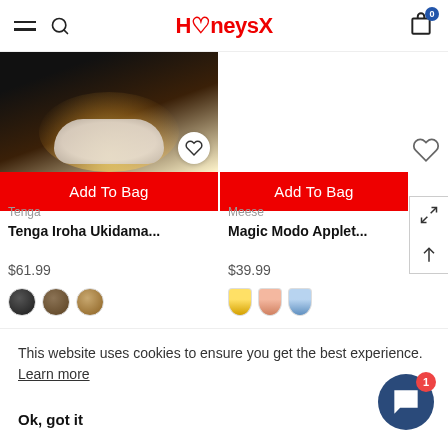HoneysX
[Figure (photo): Product photo of a glowing lamp device (Tenga Iroha Ukidama) with warm yellow-white light on a dark background, with a heart/wishlist button overlay]
Add To Bag
Tenga
Tenga Iroha Ukidama...
$61.99
[Figure (other): Three dark/brown color swatches for product variant selection]
[Figure (other): Empty product image area (right column) with heart/wishlist icon]
Add To Bag
Meese
Magic Modo Applet...
$39.99
[Figure (other): Three color swatches (yellow, pink, blue) for product variant selection]
This website uses cookies to ensure you get the best experience. Learn more
Ok, got it